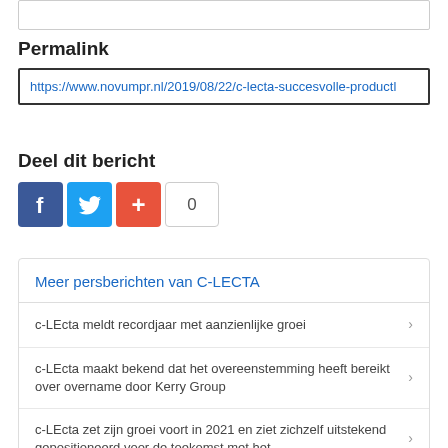Permalink
https://www.novumpr.nl/2019/08/22/c-lecta-succesvolle-productl
Deel dit bericht
[Figure (infographic): Social share buttons: Facebook (blue), Twitter (light blue), Google+ (red-orange), and a share count showing 0]
Meer persberichten van C-LECTA
c-LEcta meldt recordjaar met aanzienlijke groei
c-LEcta maakt bekend dat het overeenstemming heeft bereikt over overname door Kerry Group
c-LEcta zet zijn groei voort in 2021 en ziet zichzelf uitstekend gepositioneerd voor de toekomst met het